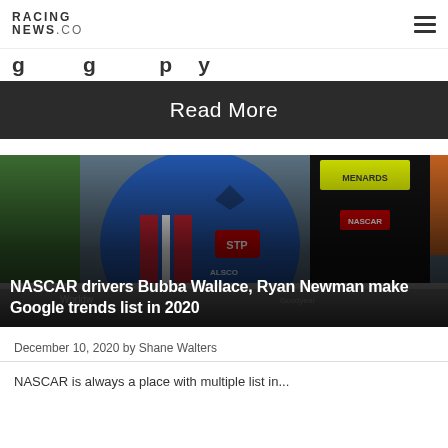RACING NEWS.CO
g g p y
Read More
[Figure (photo): Two NASCAR drivers in racing suits and gear, one in a blue/red suit with STP and ALSCO logos, the other in a black/yellow suit with Menards branding, leaning over a race car]
NASCAR drivers Bubba Wallace, Ryan Newman make Google trends list in 2020
December 10, 2020 by Shane Walters
NASCAR is always a place with multiple list in...